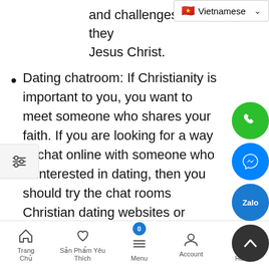and challenges as they Jesus Christ.
Dating chatroom: If Christianity is important to you, you want to meet someone who shares your faith. If you are looking for a way to chat online with someone who is interested in dating, then you should try the chat rooms Christian dating websites or online services.
Online chat rooms are available for both anonymous and registered users. It is easy to chatting in free Christian chat rooms without registration. You just need to enter your nickname
Trang Chủ | Sản Phẩm Yêu Thích | Menu | Account | Giỏ Hàng